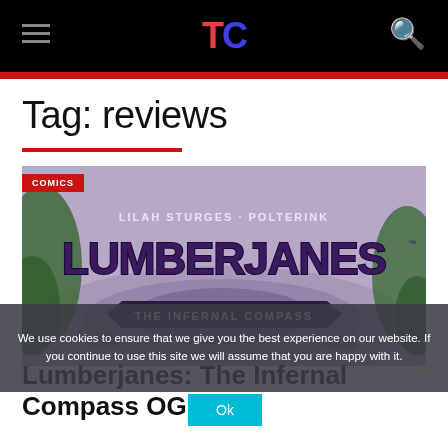TC — Tag: reviews
Tag: reviews
[Figure (illustration): Lumberjanes: The Infernal Compass book cover showing the title 'LUMBERJANES' in large stylized purple text, subtitle 'THE INFERNAL COMPASS', authors 'LILAH STURGES · POLTERINK', with a purple/green fantasy background. A red 'COMICS' badge appears in the top-left corner.]
We use cookies to ensure that we give you the best experience on our website. If you continue to use this site we will assume that you are happy with it.
Lumberjanes: The Infernal Compass OGN